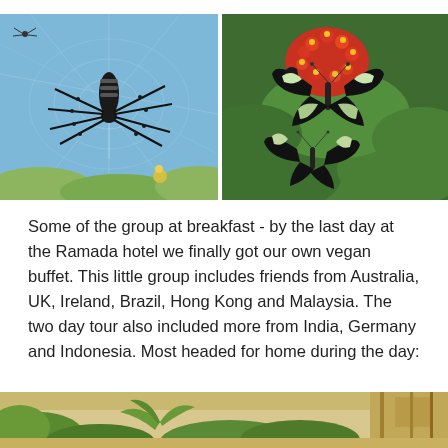[Figure (photo): Close-up photo of a large black spider (golden silk orb-weaver) on a web against a blue sky with green leaves below]
[Figure (photo): Two black and white butterflies on a cluster of red/orange tropical flowers (ixora) against a green leafy background]
Some of the group at breakfast - by the last day at the Ramada hotel we finally got our own vegan buffet. This little group includes friends from Australia, UK, Ireland, Brazil, Hong Kong and Malaysia. The two day tour also included more from India, Germany and Indonesia. Most headed for home during the day:
[Figure (photo): Partial bottom image showing an outdoor scene with tropical vegetation and a building structure]